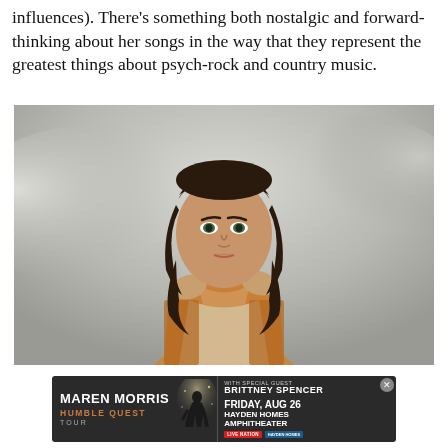influences). There's something both nostalgic and forward-thinking about her songs in the way that they represent the greatest things about psych-rock and country music.
[Figure (photo): Portrait photo of a young woman with long dark hair wearing an orange/tan bohemian patterned jacket, hands raised near her face, posed against a cloudy sky background.]
[Figure (infographic): Advertisement banner for Maren Morris Humble Quest Tour with special guest Brittney Spencer, Friday Aug 26, Hayden Homes Amphitheater. Dark background with artist silhouette, Live Nation and Hayden Homes logos.]